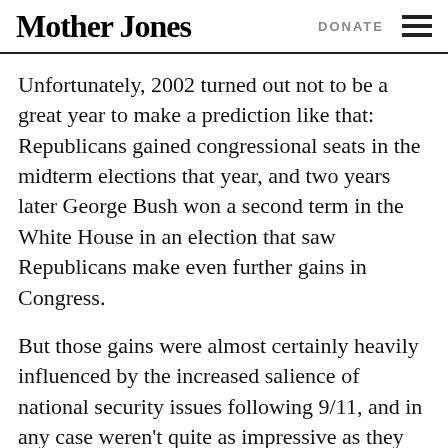Mother Jones | DONATE
Unfortunately, 2002 turned out not to be a great year to make a prediction like that: Republicans gained congressional seats in the midterm elections that year, and two years later George Bush won a second term in the White House in an election that saw Republicans make even further gains in Congress.
But those gains were almost certainly heavily influenced by the increased salience of national security issues following 9/11, and in any case weren't quite as impressive as they seemed at first glance. Bush's reelection, in particular, was a razor thin affair, not the easy victory you'd normally